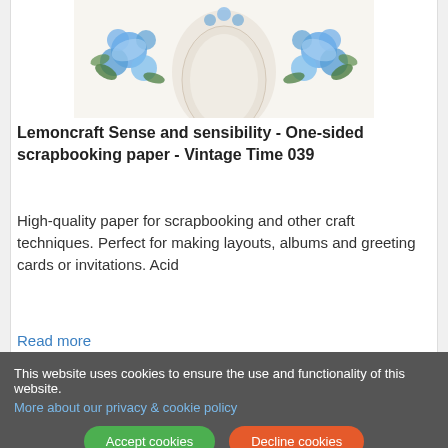[Figure (photo): Product image showing scrapbooking paper with blue floral design on light background]
Lemoncraft Sense and sensibility - One-sided scrapbooking paper - Vintage Time 039
High-quality paper for scrapbooking and other craft techniques. Perfect for making layouts, albums and greeting cards or invitations. Acid
Read more
€ 1,00
1  Order now
This website uses cookies to ensure the use and functionality of this website.
More about our privacy & cookie policy
Accept cookies  Decline cookies